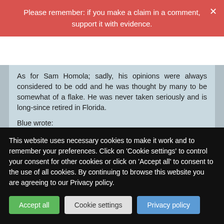Please remember: if you make a claim in a comment, support it with evidence.
As for Sam Homola; sadly, his opinions were always considered to be odd and he was thought by many to be somewhat of a flake. He was never taken seriously and is long-since retired in Florida.
Blue wrote:
"Because if most chiropractors had their way, they'd have their scope of practice expanded (and officially recognised) to enable them to dupe the public into believing that what they offer is on a par with MDs. I, and others here, are ensuring that doesn't happen. IOW, we're in the business of preventing a healthcare catastrophe."
This website uses necessary cookies to make it work and to remember your preferences. Click on 'Cookie settings' to control your consent for other cookies or click on 'Accept all' to consent to the use of all cookies. By continuing to browse this website you are agreeing to our Privacy policy.
Accept all
Cookie settings
Privacy policy